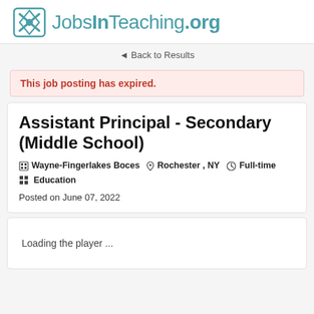JobsInTeaching.org
◄ Back to Results
This job posting has expired.
Assistant Principal - Secondary (Middle School)
Wayne-Fingerlakes Boces  Rochester , NY  Full-time  Education
Posted on June 07, 2022
Loading the player ...